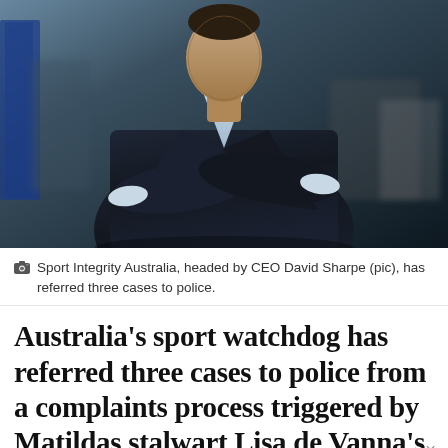[Figure (photo): A man in a dark navy suit with arms crossed, standing outdoors against a blurred urban background. A blue vertical banner is partially visible on the left side.]
Sport Integrity Australia, headed by CEO David Sharpe (pic), has referred three cases to police.
Australia's sport watchdog has referred three cases to police from a complaints process triggered by Matildas stalwart Lisa de Vanna's